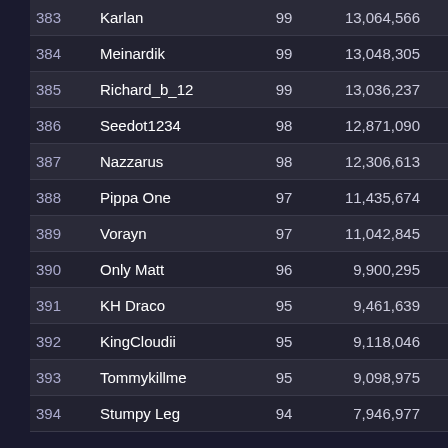| Rank | Name | Level | XP |  |
| --- | --- | --- | --- | --- |
| 383 | Karlan | 99 | 13,064,566 | 0 |
| 384 | Meinardik | 99 | 13,048,305 | 0 |
| 385 | Richard_b_12 | 99 | 13,036,237 | 0 |
| 386 | Seedot1234 | 98 | 12,871,090 | 0 |
| 387 | Nazzarus | 98 | 12,306,613 | 0 |
| 388 | Pippa One | 97 | 11,435,674 | 585,121 |
| 389 | Vorayn | 97 | 11,042,845 | 0 |
| 390 | Only Matt | 96 | 9,900,295 | 0 |
| 391 | KH Draco | 95 | 9,461,639 | 0 |
| 392 | KingCloudii | 95 | 9,118,046 | 0 |
| 393 | Tommykillme | 95 | 9,098,975 | 0 |
| 394 | Stumpy Leg | 94 | 7,946,977 | 0 |